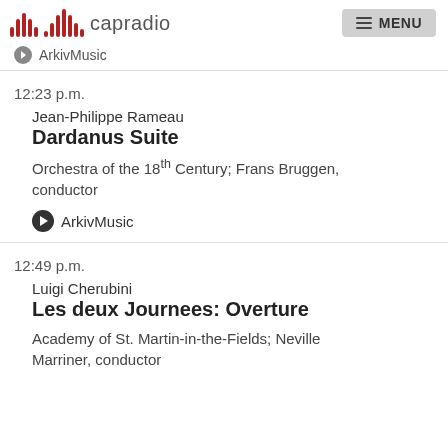capradio | MENU
ArkivMusic
12:23 p.m.
Jean-Philippe Rameau
Dardanus Suite
Orchestra of the 18th Century; Frans Bruggen, conductor
ArkivMusic
12:49 p.m.
Luigi Cherubini
Les deux Journees: Overture
Academy of St. Martin-in-the-Fields; Neville Marriner, conductor